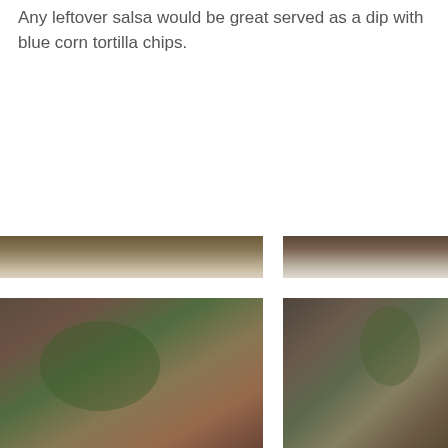Any leftover salsa would be great served as a dip with blue corn tortilla chips.
[Figure (photo): Two food photographs arranged side by side with a white gap between them, showing blurred close-up images of what appears to be a dish with salsa and tortilla chips. The images show warm brown, green, and earth tones, partially cut off at page edges.]